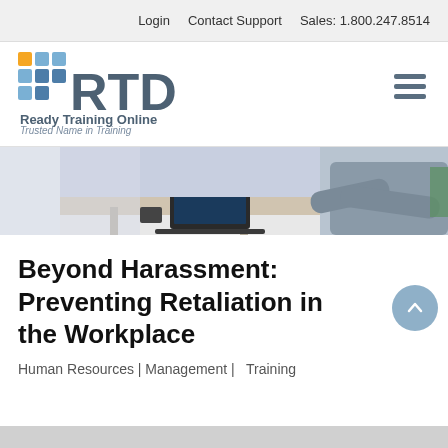Login   Contact Support   Sales: 1.800.247.8514
[Figure (logo): RTD Ready Training Online logo with colored square grid icon and text 'Ready Training Online - Trusted Name in Training']
[Figure (photo): Office workplace scene showing a person in a gray sweater with arms crossed, with a desk and laptop visible in the background]
Beyond Harassment: Preventing Retaliation in the Workplace
Human Resources | Management |   Training